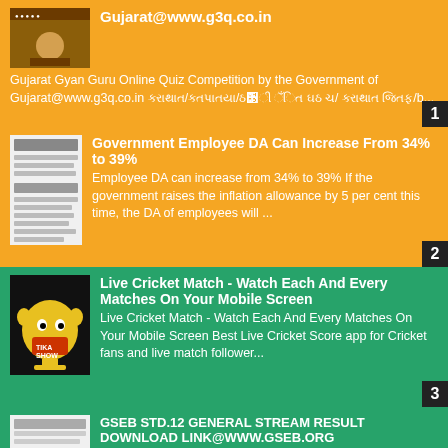Gujarat@www.g3q.co.in
Gujarat Gyan Guru Online Quiz Competition by the Government of Gujarat@www.g3q.co.in [Gujarati text]/ [Gujarati text]/[Gujarati] ... [Gujarati] .../b...
Government Employee DA Can Increase From 34% to 39%
Employee DA can increase from 34% to 39% If the government raises the inflation allowance by 5 per cent this time, the DA of employees will ...
Live Cricket Match - Watch Each And Every Matches On Your Mobile Screen
Live Cricket Match - Watch Each And Every Matches On Your Mobile Screen Best Live Cricket Score app for Cricket fans and live match follower...
GSEB STD.12 GENERAL STREAM RESULT DOWNLOAD LINK@WWW.GSEB.ORG
Std 12th General Stream Annual Examination started from 28th March 2022 and lasted till the 12th April 2022. During this time period a large...